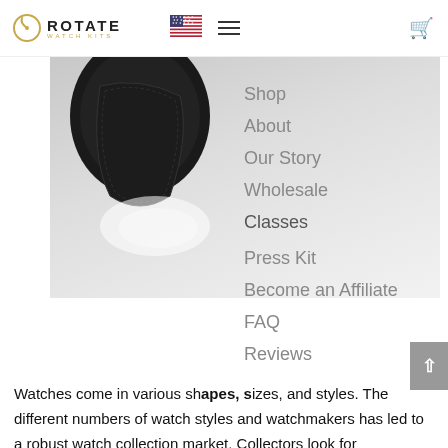ROTATE WATCH KITS — navigation header with logo, US flag, hamburger menu, cart
[Figure (photo): Close-up photo of a black leather watch strap/case against a light gray background]
Shop
About
Our Story
Wholesale
Classes
Press Kit
Become an Affiliate
FAQ
Reviews
Watches come in various shapes, sizes, and styles. The different numbers of watch styles and watchmakers has led to a robust watch collection market. Collectors look for interesting, unique, and rare watches to add to the growing treasure troves of watch memorabilia.  Below is a brief guide to some of the most rare and interesting watches around the world. This is